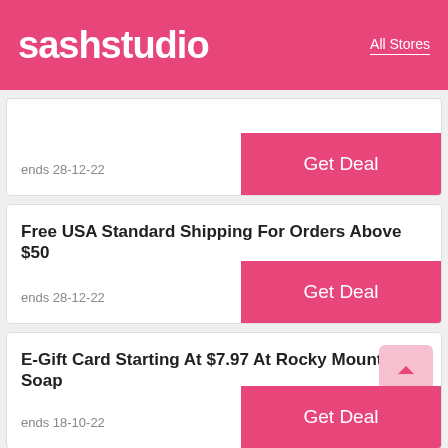sashstudio | All Stores
ends 28-12-22
Get Deal
Free USA Standard Shipping For Orders Above $50
ends 28-12-22
Get Deal
E-Gift Card Starting At $7.97 At Rocky Mountain Soap
ends 18-10-22
Get Deal